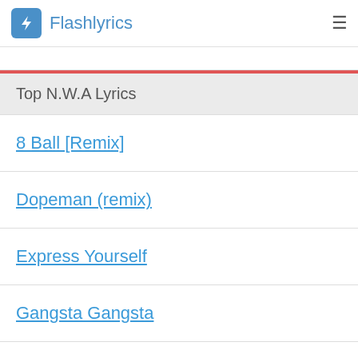Flashlyrics
Top N.W.A Lyrics
8 Ball [Remix]
Dopeman (remix)
Express Yourself
Gangsta Gangsta
If It Ain't Ruff
Parental Discretion Iz Advised
Quiet on tha Set
Something Like That